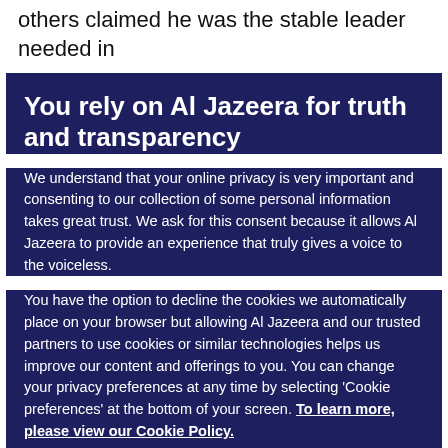others claimed he was the stable leader needed in
You rely on Al Jazeera for truth and transparency
We understand that your online privacy is very important and consenting to our collection of some personal information takes great trust. We ask for this consent because it allows Al Jazeera to provide an experience that truly gives a voice to the voiceless.
You have the option to decline the cookies we automatically place on your browser but allowing Al Jazeera and our trusted partners to use cookies or similar technologies helps us improve our content and offerings to you. You can change your privacy preferences at any time by selecting ‘Cookie preferences’ at the bottom of your screen. To learn more, please view our Cookie Policy.